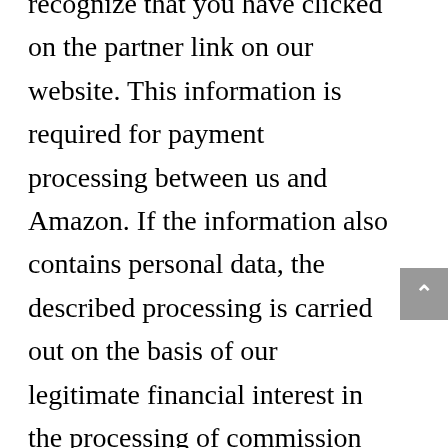recognize that you have clicked on the partner link on our website. This information is required for payment processing between us and Amazon. If the information also contains personal data, the described processing is carried out on the basis of our legitimate financial interest in the processing of commission payments with Amazon in accordance with Art. 6 (1) point f GDPR. Further information on Amazon's use of data can be found in the Amazon.de